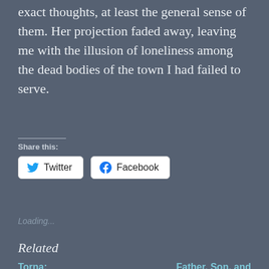exact thoughts, at least the general sense of them. Her projection faded away, leaving me with the illusion of loneliness among the dead bodies of the town I had failed to serve.
Share this:
Twitter
Facebook
Loading...
Related
Torna: Introduction
Father, Son, and Sword